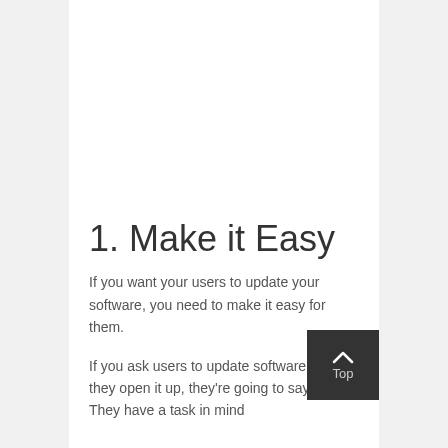1. Make it Easy
If you want your users to update your software, you need to make it easy for them.
If you ask users to update software when they open it up, they're going to say no. They have a task in mind